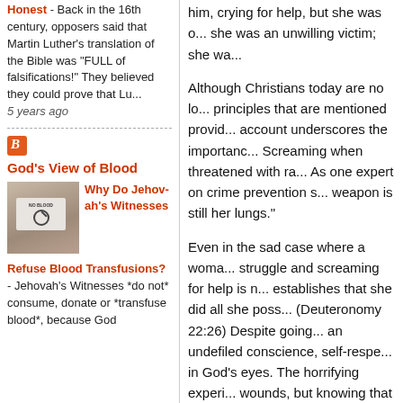Honest - Back in the 16th century, opposers said that Martin Luther's translation of the Bible was "FULL of falsifications!" They believed they could prove that Lu... 5 years ago
[Figure (illustration): Blogger icon (orange square with white italic B) and a photo of a hand holding a 'NO BLOOD' card]
God's View of Blood
Why Do Jehovah's Witnesses Refuse Blood Transfusions? - Jehovah's Witnesses *do not* consume, donate or *transfuse blood*, because God
him, crying for help, but she was o... she was an unwilling victim; she wa...
Although Christians today are no lo... principles that are mentioned provid... account underscores the importanc... Screaming when threatened with ra... As one expert on crime prevention s... weapon is still her lungs."
Even in the sad case where a woma... struggle and screaming for help is n... establishes that she did all she poss... (Deuteronomy 22:26) Despite going... an undefiled conscience, self-respe... in God's eyes. The horrifying experi... wounds, but knowing that she did a... greatly contribute to her gradual hea...
In understanding the application of ... that this brief account does not cove... does not comment on the situation w...